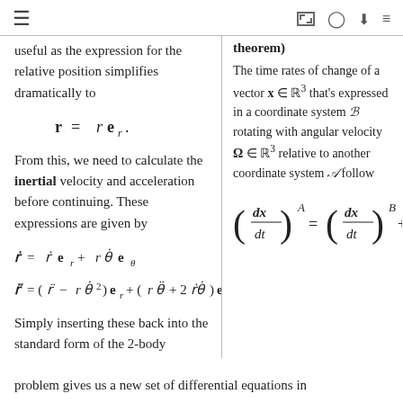≡   [icons: expand, github, download, list]
useful as the expression for the relative position simplifies dramatically to
From this, we need to calculate the inertial velocity and acceleration before continuing. These expressions are given by
Simply inserting these back into the standard form of the 2-body problem gives us a new set of differential equations in
theorem)
The time rates of change of a vector x ∈ ℝ³ that's expressed in a coordinate system ℬ rotating with angular velocity Ω ∈ ℝ³ relative to another coordinate system 𝒜 follow